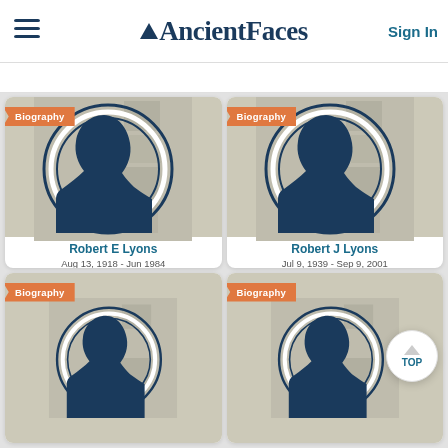AncientFaces — Sign In
[Figure (screenshot): AncientFaces biography card for Robert E Lyons showing silhouette placeholder image with collage background, name and dates Aug 13, 1918 - Jun 1984]
Robert E Lyons
Aug 13, 1918 - Jun 1984
[Figure (screenshot): AncientFaces biography card for Robert J Lyons showing silhouette placeholder image with collage background, name and dates Jul 9, 1939 - Sep 9, 2001]
Robert J Lyons
Jul 9, 1939 - Sep 9, 2001
[Figure (screenshot): AncientFaces biography card (partially visible, bottom-left) with Biography banner and silhouette placeholder]
[Figure (screenshot): AncientFaces biography card (partially visible, bottom-right) with Biography banner and silhouette placeholder]